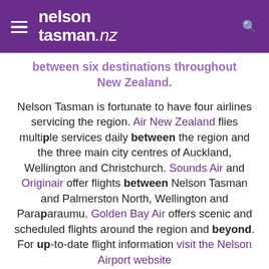[Figure (logo): Nelson Tasman .nz website header with purple background, hamburger menu icon on left, logo text in center, search icon on right]
between six destinations throughout New Zealand.
Nelson Tasman is fortunate to have four airlines servicing the region. Air New Zealand flies multiple services daily between the region and the three main city centres of Auckland, Wellington and Christchurch. Sounds Air and Originair offer flights between Nelson Tasman and Palmerston North, Wellington and Paraparaumu. Golden Bay Air offers scenic and scheduled flights around the region and beyond. For up-to-date flight information visit the Nelson Airport website